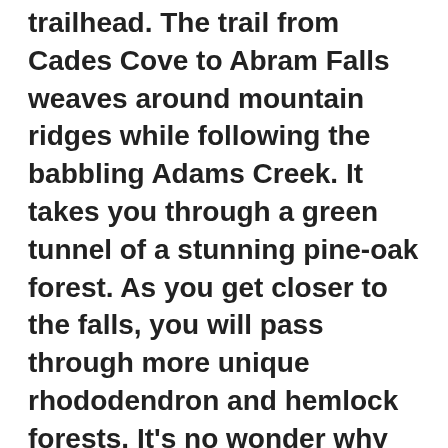trailhead. The trail from Cades Cove to Abram Falls weaves around mountain ridges while following the babbling Adams Creek. It takes you through a green tunnel of a stunning pine-oak forest. As you get closer to the falls, you will pass through more unique rhododendron and hemlock forests. It's no wonder why this trail is called one of the most scenic forest hikes in the Smokies!
After about 2.5 miles of hiking through the forest, you will reach a short side trail leading to Abrams Falls. This is a beautiful cascading waterfall is a great place to stop and have a picnic lunch. While the falls are not super tall at just 20 feet high, the large